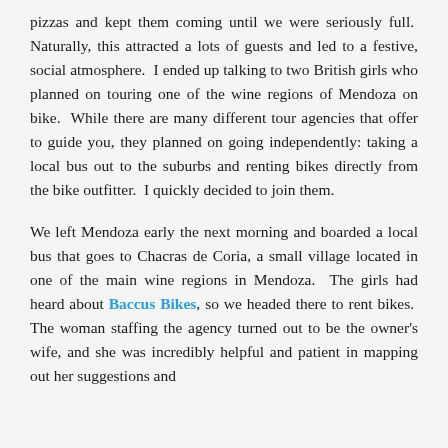pizzas and kept them coming until we were seriously full. Naturally, this attracted a lots of guests and led to a festive, social atmosphere. I ended up talking to two British girls who planned on touring one of the wine regions of Mendoza on bike. While there are many different tour agencies that offer to guide you, they planned on going independently: taking a local bus out to the suburbs and renting bikes directly from the bike outfitter. I quickly decided to join them.
We left Mendoza early the next morning and boarded a local bus that goes to Chacras de Coria, a small village located in one of the main wine regions in Mendoza. The girls had heard about Baccus Bikes, so we headed there to rent bikes. The woman staffing the agency turned out to be the owner's wife, and she was incredibly helpful and patient in mapping out her suggestions and